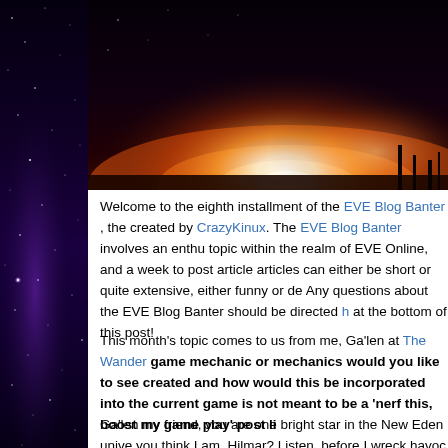[Figure (photo): Dark nighttime scene with bright glowing light on the horizon, possibly a rocket launch or explosion, with silhouetted structures visible against the glow]
Welcome to the eighth installment of the EVE Blog Banter , the created by CrazyKinux. The EVE Blog Banter involves an enthu topic within the realm of EVE Online, and a week to post article articles can either be short or quite extensive, either funny or de Any questions about the EVE Blog Banter should be directed h at the bottom of this post!
This month's topic comes to us from me, Ga'len at The Wander game mechanic or mechanics would you like to see created and how would this be incorporated into the current game is not meant to be a 'nerf this, boost my game play' post li
Ga'len my friend, you are one bright star in the New Eden unive you think I am, Hilmar? Listen, before I wreck havoc to the inne